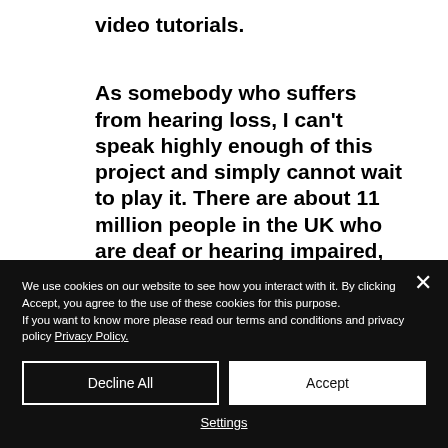video tutorials.
As somebody who suffers from hearing loss, I can’t speak highly enough of this project and simply cannot wait to play it. There are about 11 million people in the UK who are deaf or hearing impaired, an
We use cookies on our website to see how you interact with it. By clicking Accept, you agree to the use of these cookies for this purpose.
If you want to know more please read our terms and conditions and privacy policy Privacy Policy.
Decline All
Accept
Settings